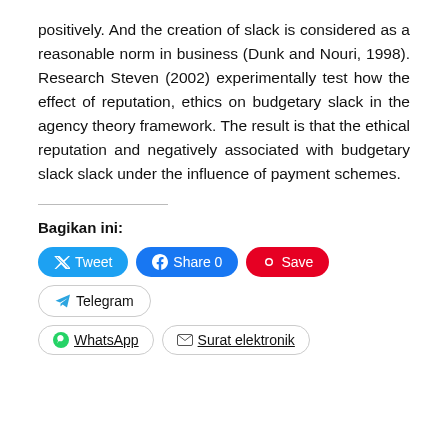positively. And the creation of slack is considered as a reasonable norm in business (Dunk and Nouri, 1998). Research Steven (2002) experimentally test how the effect of reputation, ethics on budgetary slack in the agency theory framework. The result is that the ethical reputation and negatively associated with budgetary slack slack under the influence of payment schemes.
Bagikan ini:
Tweet
Share 0
Save
Telegram
WhatsApp
Surat elektronik